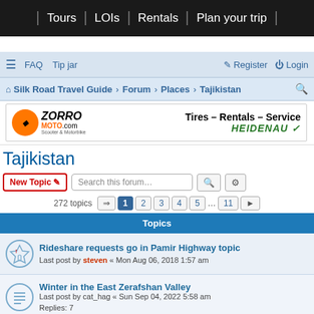Tours | LOIs | Rentals | Plan your trip
FAQ  Tip jar  Register  Login
Silk Road Travel Guide › Forum › Places › Tajikistan
[Figure (illustration): ZorroMoto.com advertisement banner: Tires – Rentals – Service, Heidenau tires logo]
Tajikistan
New Topic  Search this forum…
272 topics  1 2 3 4 5 ... 11 >
Topics
Rideshare requests go in Pamir Highway topic
Last post by steven « Mon Aug 06, 2018 1:57 am
Winter in the East Zerafshan Valley
Last post by cat_hag « Sun Sep 04, 2022 5:58 am
Replies: 7